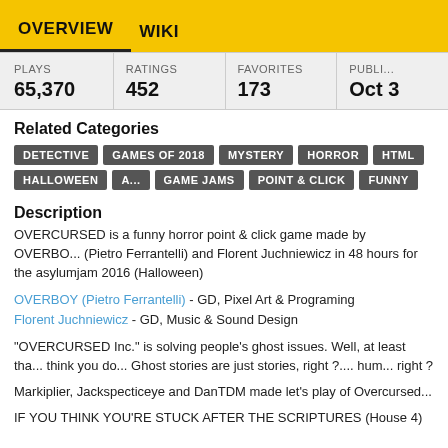OVERVIEW   WIKI
| PLAYS | RATINGS | FAVORITES | PUBLI... |
| --- | --- | --- | --- |
| 65,370 | 452 | 173 | Oct 3 |
Related Categories
DETECTIVE
GAMES OF 2018
MYSTERY
HORROR
HTML
HALLOWEEN
GAME JAMS
POINT & CLICK
FUNNY
Description
OVERCURSED is a funny horror point & click game made by OVERBOY (Pietro Ferrantelli) and Florent Juchniewicz in 48 hours for the asylumjam 2016 (Halloween)
OVERBOY (Pietro Ferrantelli) - GD, Pixel Art & Programing
Florent Juchniewicz - GD, Music & Sound Design
"OVERCURSED Inc." is solving people's ghost issues. Well, at least that's what they think you do... Ghost stories are just stories, right ?.... hum... right ?
Markiplier, Jackspecticeye and DanTDM made let's play of Overcursed...
IF YOU THINK YOU'RE STUCK AFTER THE SCRIPTURES (House 4)